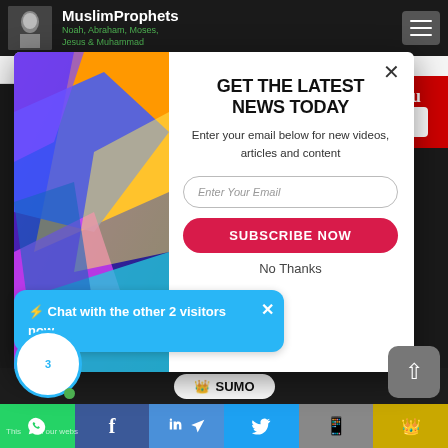MuslimProphets – Noah, Abraham, Moses, Jesus & Muhammad
3946 views · 4 hrs ago | ↑ 5 years ago
[Figure (screenshot): Newsletter signup modal popup with geometric colorful left panel and email subscription form on the right. Headline: GET THE LATEST NEWS TODAY. Email input field and red SUBSCRIBE NOW button. No Thanks link below.]
⚡ Chat with the other 2 visitors now
SUMO
This on our webs